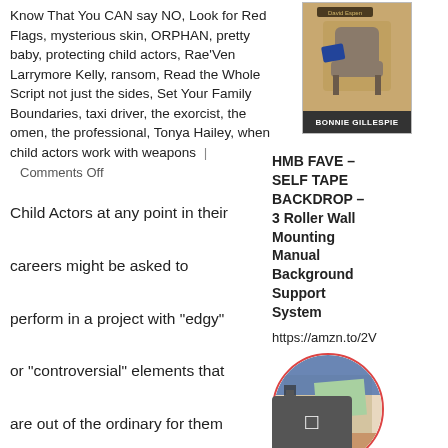Know That You CAN say NO, Look for Red Flags, mysterious skin, ORPHAN, pretty baby, protecting child actors, Rae'Ven Larrymore Kelly, ransom, Read the Whole Script not just the sides, Set Your Family Boundaries, taxi driver, the exorcist, the omen, the professional, Tonya Hailey, when child actors work with weapons | Comments Off
Child Actors at any point in their careers might be asked to perform in a project with "edgy" or "controversial" elements that are out of the ordinary for them and potentially out of your family's comfort zone. These storyline elements might include
[Figure (photo): Book cover thumbnail with brown/tan background and chair image, author name BONNIE GILLESPIE at bottom]
HMB FAVE – SELF TAPE BACKDROP – 3 Roller Wall Mounting Manual Background Support System
https://amzn.to/2V
[Figure (photo): Circular cropped photo of hands holding or adjusting a film backdrop roller system with colorful elements]